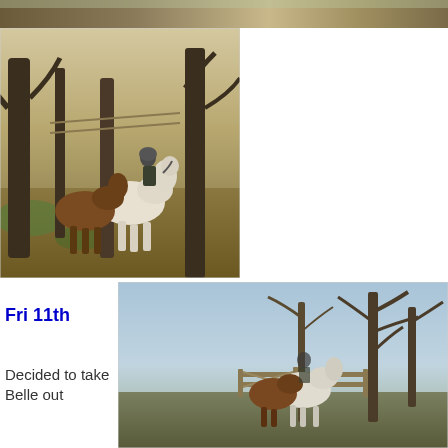[Figure (photo): Top strip: horses and riders in a field, partial view at top of page]
[Figure (photo): Person riding a white horse with a brown horse alongside, walking through woodland trees with mossy ground]
Fri 11th
Decided to take Belle out
[Figure (photo): A white horse and a brown horse standing near a gate/pen with bare winter trees and blue sky in background]